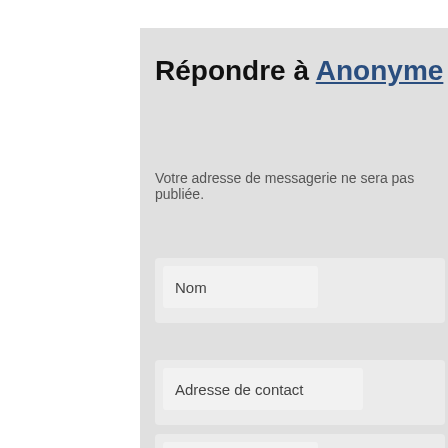Répondre à Anonyme
Votre adresse de messagerie ne sera pas publiée.
Nom
Adresse de contact
Site web